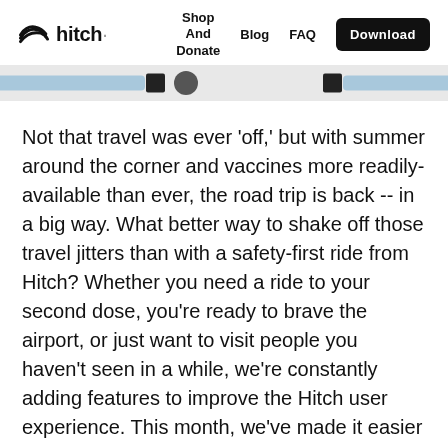hitch · Shop And Donate · Blog · FAQ · Download
[Figure (screenshot): Partial screenshot of a mobile app interface showing a blue navigation bar with icons]
Not that travel was ever 'off,' but with summer around the corner and vaccines more readily-available than ever, the road trip is back -- in a big way. What better way to shake off those travel jitters than with a safety-first ride from Hitch? Whether you need a ride to your second dose, you're ready to brave the airport, or just want to visit people you haven't seen in a while, we're constantly adding features to improve the Hitch user experience. This month, we've made it easier than ever to find your people already traveling with us -- and less awkward to travel